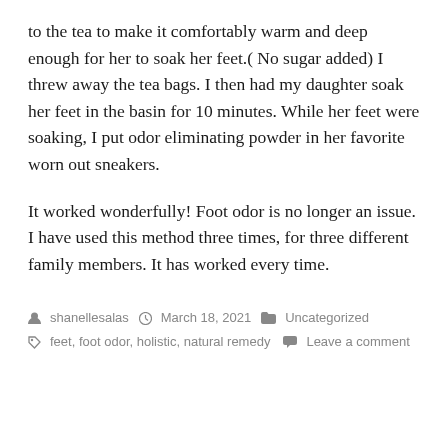to the tea to make it comfortably warm and deep enough for her to soak her feet.( No sugar added) I threw away the tea bags. I then had my daughter soak her feet in the basin for 10 minutes. While her feet were soaking, I put odor eliminating powder in her favorite worn out sneakers.
It worked wonderfully! Foot odor is no longer an issue. I have used this method three times, for three different family members. It has worked every time.
shanellesalas  March 18, 2021  Uncategorized  feet, foot odor, holistic, natural remedy  Leave a comment